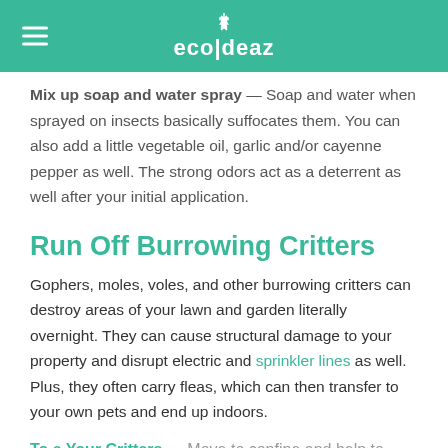eco|deaz
Mix up soap and water spray — Soap and water when sprayed on insects basically suffocates them. You can also add a little vegetable oil, garlic and/or cayenne pepper as well. The strong odors act as a deterrent as well after your initial application.
Run Off Burrowing Critters
Gophers, moles, voles, and other burrowing critters can destroy areas of your lawn and garden literally overnight. They can cause structural damage to your property and disrupt electric and sprinkler lines as well. Plus, they often carry fleas, which can then transfer to your own pets and end up indoors.
To e Your Critters — Move to confine and help to ...